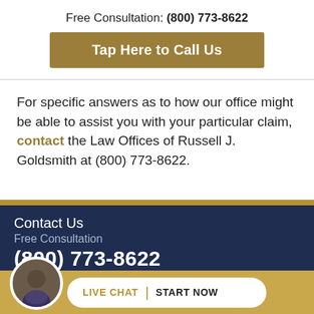Free Consultation: (800) 773-8622
Tap Here to Call Us
For specific answers as to how our office might be able to assist you with your particular claim, contact the Law Offices of Russell J. Goldsmith at (800) 773-8622.
Contact Us
Free Consultation
(800) 773-8622
LIVE CHAT  START NOW